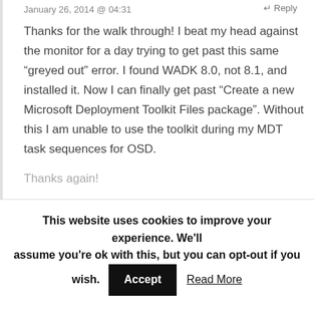January 26, 2014 @ 04:31
Thanks for the walk through! I beat my head against the monitor for a day trying to get past this same “greyed out” error. I found WADK 8.0, not 8.1, and installed it. Now I can finally get past “Create a new Microsoft Deployment Toolkit Files package”. Without this I am unable to use the toolkit during my MDT task sequences for OSD.
Thanks again!
This website uses cookies to improve your experience. We'll assume you're ok with this, but you can opt-out if you wish.
Accept
Read More